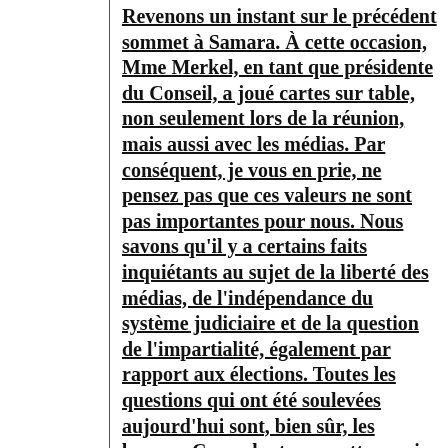Revenons un instant sur le précédent sommet à Samara. À cette occasion, Mme Merkel, en tant que présidente du Conseil, a joué cartes sur table, non seulement lors de la réunion, mais aussi avec les médias. Par conséquent, je vous en prie, ne pensez pas que ces valeurs ne sont pas importantes pour nous. Nous savons qu'il y a certains faits inquiétants au sujet de la liberté des médias, de l'indépendance du système judiciaire et de la question de l'impartialité, également par rapport aux élections. Toutes les questions qui ont été soulevées aujourd'hui sont, bien sûr, les bonnes. Cependant, permettez-moi aussi de dire que les commentaires de M. Brok décrivent un peu mon propre point de vue, à savoir que nous devons définir clairement nos intérêts. D'une part, il y a des